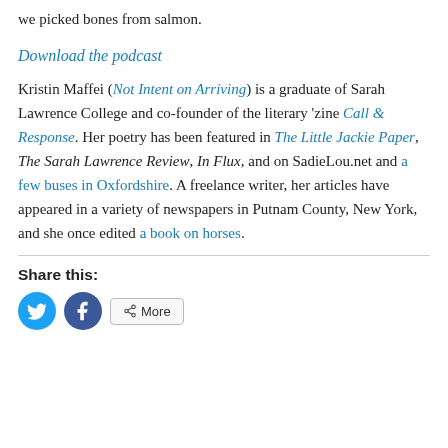we picked bones from salmon.
Download the podcast
Kristin Maffei (Not Intent on Arriving) is a graduate of Sarah Lawrence College and co-founder of the literary ‘zine Call & Response. Her poetry has been featured in The Little Jackie Paper, The Sarah Lawrence Review, In Flux, and on SadieLou.net and a few buses in Oxfordshire. A freelance writer, her articles have appeared in a variety of newspapers in Putnam County, New York, and she once edited a book on horses.
Share this: